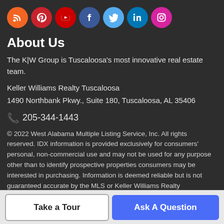[Figure (infographic): Row of 7 social media icon circles: RSS (orange), Pinterest (red), YouTube (red), Facebook (dark blue), Twitter (light blue), LinkedIn (dark blue), Instagram (pink/magenta)]
About Us
The K|W Group is Tuscaloosa's most innovative real estate team.
Keller Williams Realty Tuscaloosa
1490 Northbank Pkwy., Suite 180, Tuscaloosa, AL 35406
📞 205-344-1443
© 2022 West Alabama Multiple Listing Service, Inc. All rights reserved. IDX information is provided exclusively for consumers' personal, non-commercial use and may not be used for any purpose other than to identify prospective properties consumers may be interested in purchasing. Information is deemed reliable but is not guaranteed accurate by the MLS or Keller Williams Realty Tuscaloosa. Data last updated: 2022-08-24T15:50:25.34.
Take a Tour
Ask A Question